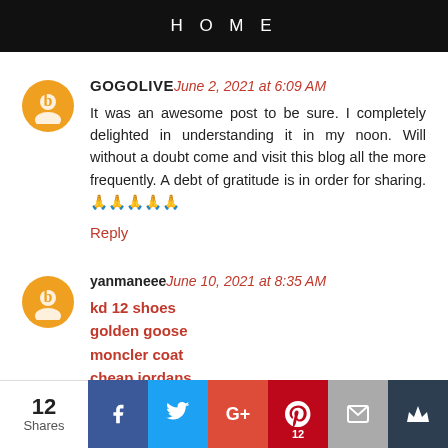HOME
GOGOLIVE June 2, 2021 at 6:09 AM
It was an awesome post to be sure. I completely delighted in understanding it in my noon. Will without a doubt come and visit this blog all the more frequently. A debt of gratitude is in order for sharing. 🙏🙏🙏🙏🙏
Reply
yanmaneee June 10, 2021 at 8:35 AM
kd 12 shoes
golden goose
moncler coat
cheap jordans
ggdb
golden goose
yeezy 700
golden goose
12 Shares  Facebook  Twitter  Google+  Pinterest 12  Email  Crown